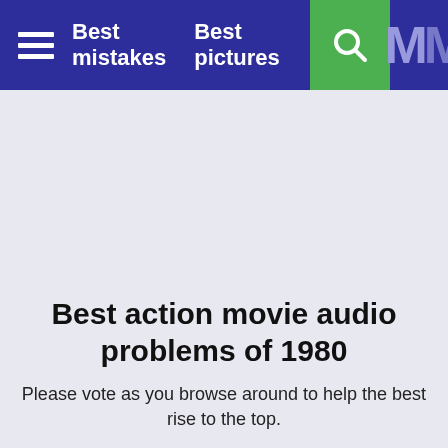Best mistakes   Best pictures
Best action movie audio problems of 1980
Please vote as you browse around to help the best rise to the top.